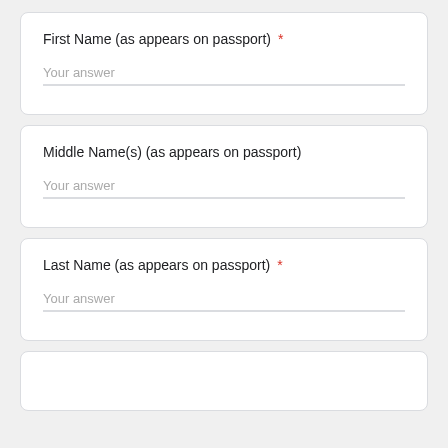First Name (as appears on passport) *
Your answer
Middle Name(s) (as appears on passport)
Your answer
Last Name (as appears on passport) *
Your answer